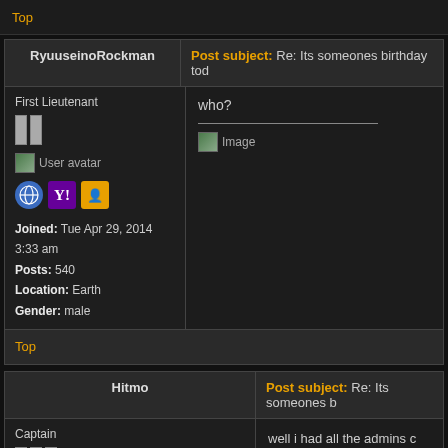Top
| RyuuseinoRockman | Post subject: Re: Its someones birthday tod... |
| --- | --- |
| First Lieutenant
[rank bars]
[User avatar]
[social icons]
Joined: Tue Apr 29, 2014 3:33 am
Posts: 540
Location: Earth
Gender: male | who?
___
[Image] |
Top
| Hitmo | Post subject: Re: Its someones b... |
| --- | --- |
| Captain
[rank bars]
[emoji image] | well i had all the admins c... even have a single admir...

since ur saying , u saw hi... not talking abt andrew bc...

Anyways Happy Birthday... |